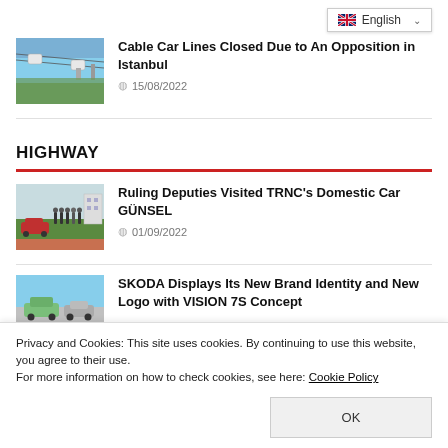[Figure (screenshot): Language selector dropdown showing English with flag]
[Figure (photo): Cable car gondolas over Istanbul cityscape]
Cable Car Lines Closed Due to An Opposition in Istanbul
15/08/2022
HIGHWAY
[Figure (photo): Group of people standing near a red car in a parking area]
Ruling Deputies Visited TRNC's Domestic Car GÜNSEL
01/09/2022
[Figure (photo): SKODA car displayed outdoors]
SKODA Displays Its New Brand Identity and New Logo with VISION 7S Concept
Privacy and Cookies: This site uses cookies. By continuing to use this website, you agree to their use.
For more information on how to check cookies, see here: Cookie Policy